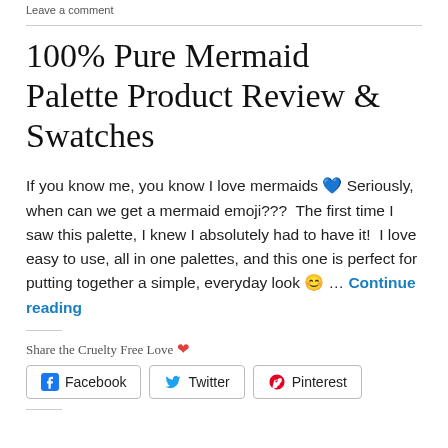Leave a comment
100% Pure Mermaid Palette Product Review & Swatches
If you know me, you know I love mermaids 💙 Seriously, when can we get a mermaid emoji???  The first time I saw this palette, I knew I absolutely had to have it!  I love easy to use, all in one palettes, and this one is perfect for putting together a simple, everyday look 😊 … Continue reading
Share the Cruelty Free Love ❤
Facebook
Twitter
Pinterest